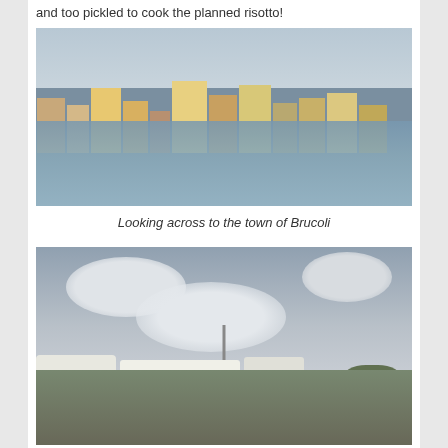and too pickled to cook the planned risotto!
[Figure (photo): View across water to the coastal town of Brucoli, with colourful buildings reflected in calm water]
Looking across to the town of Brucoli
[Figure (photo): Campsite with caravans/motorhomes, a tall lamp pole, trees and dramatic cloudy sky]